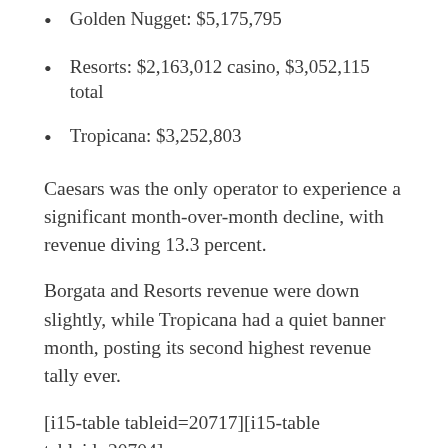Golden Nugget: $5,175,795
Resorts: $2,163,012 casino, $3,052,115 total
Tropicana: $3,252,803
Caesars was the only operator to experience a significant month-over-month decline, with revenue diving 13.3 percent.
Borgata and Resorts revenue were down slightly, while Tropicana had a quiet banner month, posting its second highest revenue tally ever.
[i15-table tableid=20717][i15-table tableid=20704]
Online poker holds